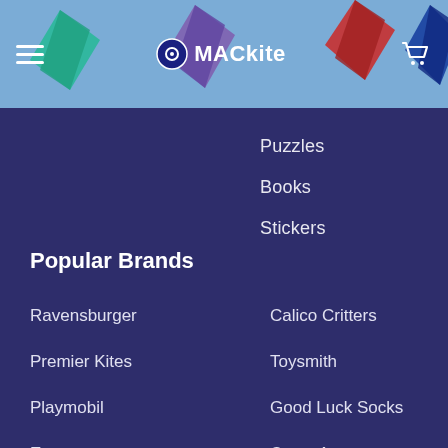MACkite
Puzzles
Books
Stickers
Popular Brands
Ravensburger
Calico Critters
Premier Kites
Toysmith
Playmobil
Good Luck Socks
Evergreen
Crazy Aaron
Life is Good
View All